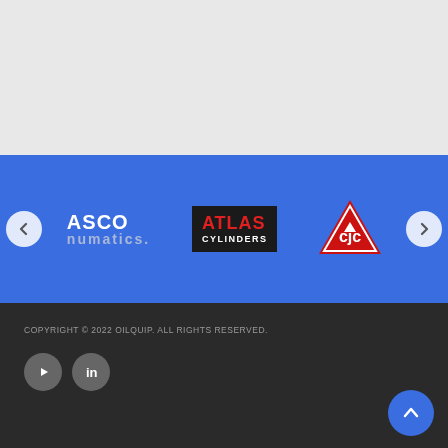[Figure (screenshot): Gray empty area at the top of the page, part of a website layout]
[Figure (screenshot): Blue carousel band with partner logos: ASCO Numatics, Atlas Cylinders, CJC (triangle logo). Left and right navigation arrows visible.]
COPYRIGHT © 2022 OILQUIP. ALL RIGHTS RESERVED.
[Figure (screenshot): Social media icons: YouTube and LinkedIn circles in dark footer]
[Figure (screenshot): Blue scroll-to-top button with upward chevron arrow in bottom right corner]